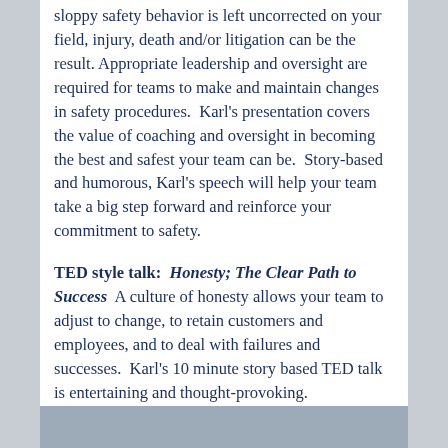sloppy safety behavior is left uncorrected on your field, injury, death and/or litigation can be the result. Appropriate leadership and oversight are required for teams to make and maintain changes in safety procedures.  Karl's presentation covers the value of coaching and oversight in becoming the best and safest your team can be.  Story-based and humorous, Karl's speech will help your team take a big step forward and reinforce your commitment to safety.
TED style talk:  Honesty; The Clear Path to Success  A culture of honesty allows your team to adjust to change, to retain customers and employees, and to deal with failures and successes.  Karl's 10 minute story based TED talk is entertaining and thought-provoking.
[Figure (other): Blue-grey horizontal bar at the bottom of the page]